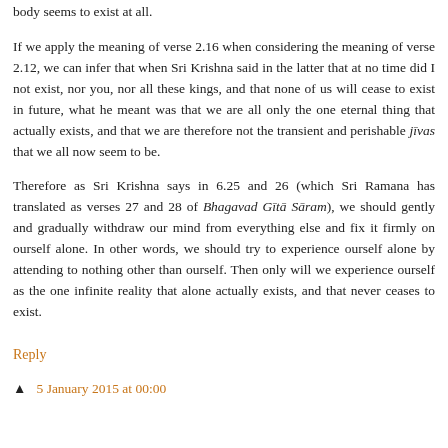body seems to exist at all.
If we apply the meaning of verse 2.16 when considering the meaning of verse 2.12, we can infer that when Sri Krishna said in the latter that at no time did I not exist, nor you, nor all these kings, and that none of us will cease to exist in future, what he meant was that we are all only the one eternal thing that actually exists, and that we are therefore not the transient and perishable jīvas that we all now seem to be.
Therefore as Sri Krishna says in 6.25 and 26 (which Sri Ramana has translated as verses 27 and 28 of Bhagavad Gītā Sāram), we should gently and gradually withdraw our mind from everything else and fix it firmly on ourself alone. In other words, we should try to experience ourself alone by attending to nothing other than ourself. Then only will we experience ourself as the one infinite reality that alone actually exists, and that never ceases to exist.
Reply
5 January 2015 at 00:00